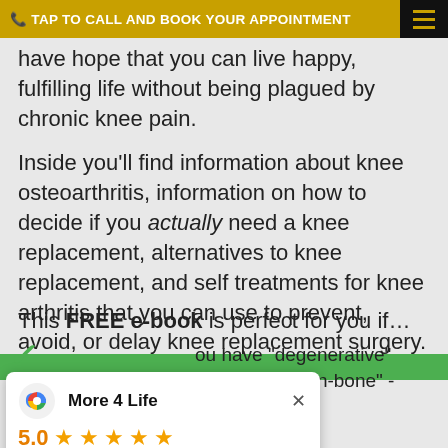TAP TO CALL AND BOOK YOUR APPOINTMENT
have hope that you can live happy, fulfilling life without being plagued by chronic knee pain.
Inside you'll find information about knee osteoarthritis, information on how to decide if you actually need a knee replacement, alternatives to knee replacement, and self treatments for knee arthritis that you can use to prevent, avoid, or delay knee replacement surgery.
This FREE e-book is perfect for you if…
you have "degenerative" knee is "bone-on-bone" -
[Figure (screenshot): Google review card for More 4 Life showing 5.0 rating with 5 stars, based on 98 reviews]